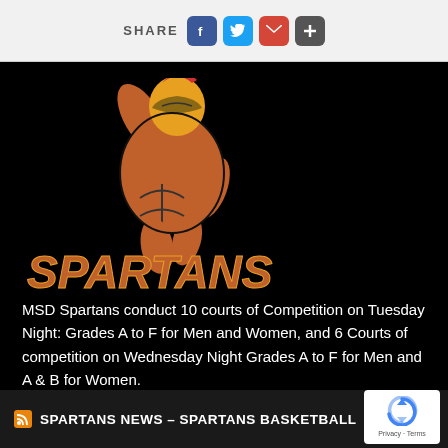SHARE
[Figure (logo): Spartans basketball logo — armored Spartan warrior dunking a basketball, with 'SPARTANS' text in orange below, on black background]
MSD Spartans conduct 10 courts of Competition on Tuesday Night: Grades A to F for Men and Women, and 6 Courts of competition on Wednesday Night Grades A to F for Men and A & B for Women.
SPARTANS NEWS – SPARTANS BASKETBALL